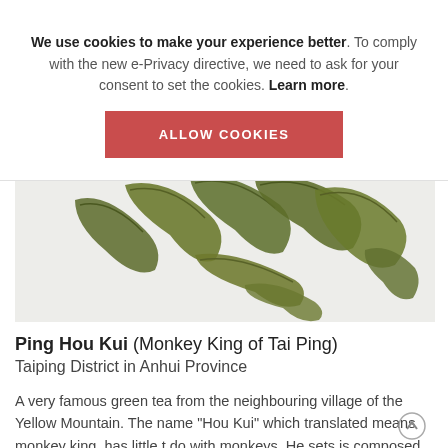We use cookies to make your experience better. To comply with the new e-Privacy directive, we need to ask for your consent to set the cookies. Learn more.
ALLOW COOKIES
[Figure (photo): Close-up photo of long, flat, twisted dark-green Ping Hou Kui tea leaves arranged on a white surface.]
Ping Hou Kui (Monkey King of Tai Ping) Taiping District in Anhui Province
A very famous green tea from the neighbouring village of the Yellow Mountain. The name "Hou Kui" which translated means monkey king, has little t do with monkeys. He sets is composed of the na e of a village (Houkepa) and the name of a tea